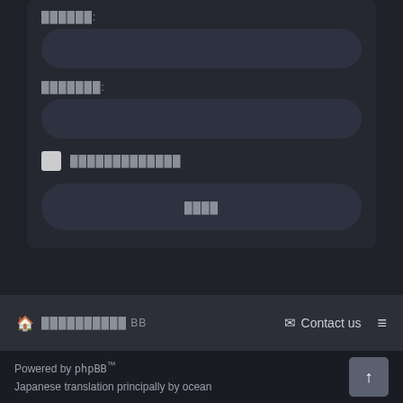[Figure (screenshot): Dark-themed phpBB login form with two input fields (username and password) shown with redacted labels, a checkbox row, and a submit button. All text labels appear redacted/blurred.]
🏠 [redacted] BB   ✉ Contact us  ≡
Powered by phpBB™
Japanese translation principally by ocean